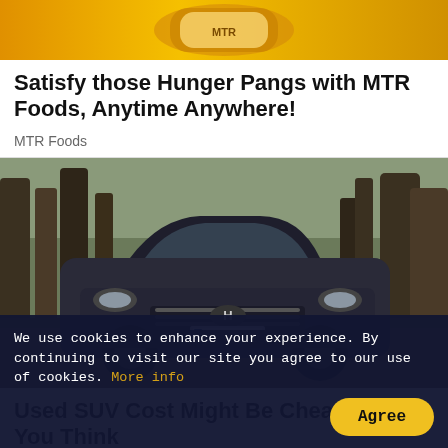[Figure (photo): Advertisement banner for MTR Foods showing a snack package on golden/yellow background]
Satisfy those Hunger Pangs with MTR Foods, Anytime Anywhere!
MTR Foods
[Figure (photo): Dark Hyundai SUV photographed front-on in a forest/wooded setting, with trees visible in the background]
Used SUV Cost Might Be Cheaper Than You Think
We use cookies to enhance your experience. By continuing to visit our site you agree to our use of cookies. More info